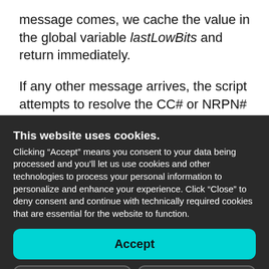message comes, we cache the value in the global variable lastLowBits and return immediately.

If any other message arrives, the script attempts to resolve the CC# or NRPN# to a parameter via
This website uses cookies. Clicking “Accept” means you consent to your data being processed and you’ll let us use cookies and other technologies to process your personal information to personalize and enhance your experience. Click “Close” to deny consent and continue with technically required cookies that are essential for the website to function.
Accept
Close
Privacy Policy